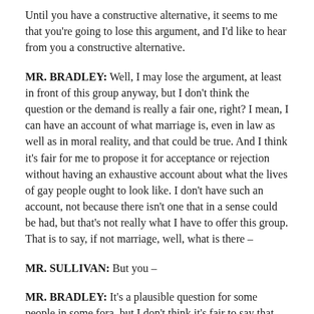Until you have a constructive alternative, it seems to me that you're going to lose this argument, and I'd like to hear from you a constructive alternative.
MR. BRADLEY: Well, I may lose the argument, at least in front of this group anyway, but I don't think the question or the demand is really a fair one, right? I mean, I can have an account of what marriage is, even in law as well as in moral reality, and that could be true. And I think it's fair for me to propose it for acceptance or rejection without having an exhaustive account about what the lives of gay people ought to look like. I don't have such an account, not because there isn't one that in a sense could be had, but that's not really what I have to offer this group. That is to say, if not marriage, well, what is there –
MR. SULLIVAN: But you –
MR. BRADLEY: It's a plausible question for some people in some fora, but I don't think it's fair to say that – and it's